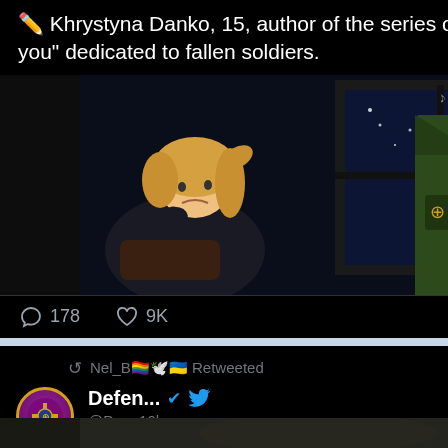✏️ Khrystyna Danko, 15, author of the series of drawings "I miss you" dedicated to fallen soldiers.
[Figure (illustration): Digital illustration of a girl with blonde hair sitting by a window at night, with a military jacket/uniform visible on the right side. Stars visible through window.]
💬 178  🤍 9K
Nel_B🏳️‍🌈🕊️🇺🇦 Retweeted
Defen... ✔️ 🐦 @D... · 10h 🏴 Ukraine gove...
G.I. Patron
Art by PeaceMaker
[Figure (photo): Partial photo visible at bottom of page, appears to be an animal or dark image.]